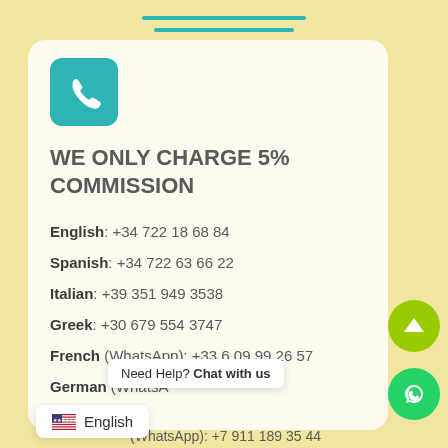[Figure (illustration): Two horizontal teal decorative lines at the top of the page]
[Figure (logo): Teal square with rounded corners containing a white telephone handset icon]
WE ONLY CHARGE 5% COMMISSION
English: +34 722 18 68 84
Spanish: +34 722 63 66 22
Italian: +39 351 949 3538
Greek: +30 679 554 3747
French (WhatsApp): +33 6 09 99 26 57
German (WhatsApp): ...
Need Help? Chat with us
English
(WhatsApp): +7 911 189 35 44